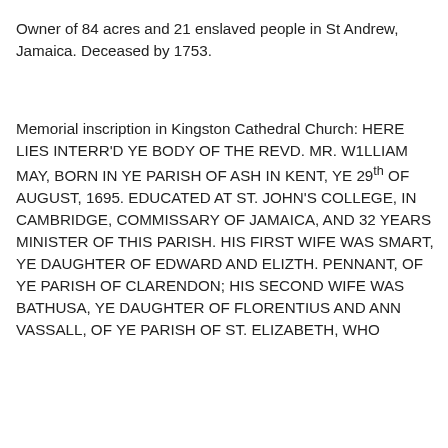Owner of 84 acres and 21 enslaved people in St Andrew, Jamaica. Deceased by 1753.
Memorial inscription in Kingston Cathedral Church: HERE LIES INTERR'D YE BODY OF THE REVD. MR. W1LLIAM MAY, BORN IN YE PARISH OF ASH IN KENT, YE 29th OF AUGUST, 1695. EDUCATED AT ST. JOHN'S COLLEGE, IN CAMBRIDGE, COMMISSARY OF JAMAICA, AND 32 YEARS MINISTER OF THIS PARISH. HIS FIRST WIFE WAS SMART, YE DAUGHTER OF EDWARD AND ELIZTH. PENNANT, OF YE PARISH OF CLARENDON; HIS SECOND WIFE WAS BATHUSA, YE DAUGHTER OF FLORENTIUS AND ANN VASSALL, OF YE PARISH OF ST. ELIZABETH, WHO